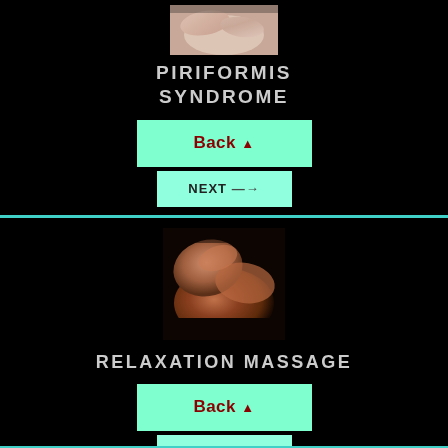[Figure (photo): Close-up of hands performing massage therapy on a person's back/shoulder area, top portion visible]
PIRIFORMIS SYNDROME
Back ▲
NEXT →
[Figure (photo): Close-up photo of hands performing relaxation massage on a person's back, warm tones, dark background]
RELAXATION MASSAGE
Back ▲
NEXT →